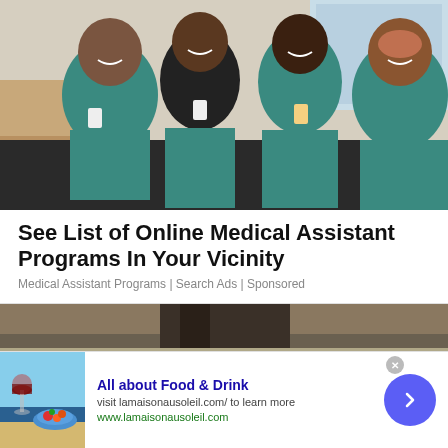[Figure (photo): Four women wearing teal/green medical scrubs sitting together and smiling in what appears to be a hospital or clinic break room setting.]
See List of Online Medical Assistant Programs In Your Vicinity
Medical Assistant Programs | Search Ads | Sponsored
[Figure (photo): Partial view of a building exterior, dark tones, appearing to be a second advertisement image.]
[Figure (photo): Banner ad thumbnail: a glass of red wine and a plate of food on a blue plate by the seaside.]
All about Food & Drink
visit lamaisonausoleil.com/ to learn more
www.lamaisonausoleil.com